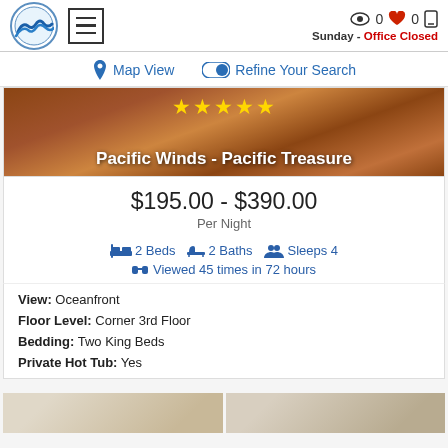Sunday - Office Closed
Map View | Refine Your Search
[Figure (screenshot): Rental property listing image for Pacific Winds - Pacific Treasure with star rating overlay]
Pacific Winds - Pacific Treasure
$195.00 - $390.00 Per Night
2 Beds  2 Baths  Sleeps 4  Viewed 45 times in 72 hours
View: Oceanfront
Floor Level: Corner 3rd Floor
Bedding: Two King Beds
Private Hot Tub: Yes